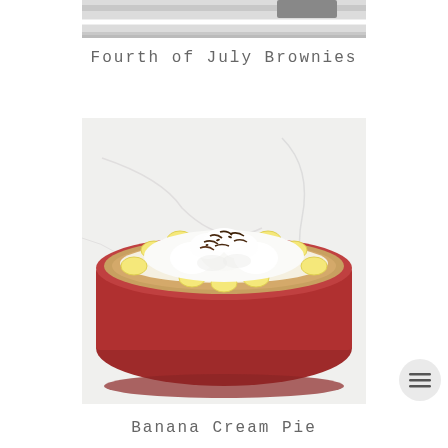[Figure (photo): Partial top of a photo showing a striped cloth or textile with a dark object, cropped at top of page]
Fourth of July Brownies
[Figure (photo): A banana cream pie in a red pie dish, topped with whipped cream, banana slices arranged around the edge, and chocolate shavings on top, set on a white marble surface]
Banana Cream Pie